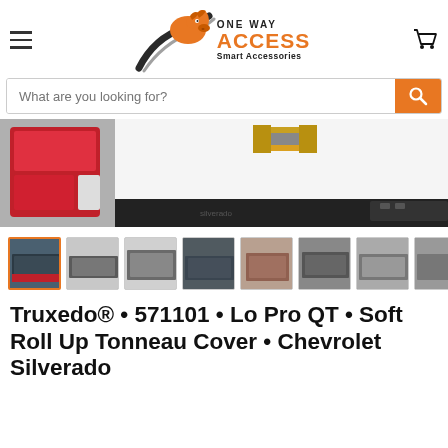[Figure (logo): One Way Access logo with horse head silhouette in orange and black road/arrow graphic, brand name 'ONE WAY ACCESS Smart Accessories']
[Figure (photo): Close-up photo of the rear of a white Chevrolet truck showing red tail light and gold Chevy bowtie emblem]
[Figure (photo): Row of 8 thumbnail images of the Truxedo Lo Pro QT Tonneau Cover product showing different angles and details. First thumbnail is selected/active with orange border.]
Truxedo® • 571101 • Lo Pro QT • Soft Roll Up Tonneau Cover • Chevrolet Silverado